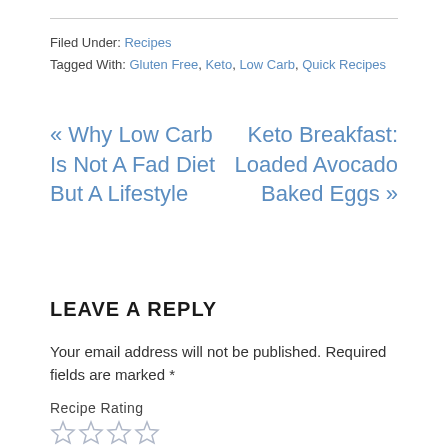Filed Under: Recipes
Tagged With: Gluten Free, Keto, Low Carb, Quick Recipes
« Why Low Carb Is Not A Fad Diet But A Lifestyle
Keto Breakfast: Loaded Avocado Baked Eggs »
LEAVE A REPLY
Your email address will not be published. Required fields are marked *
Recipe Rating ☆☆☆☆☆